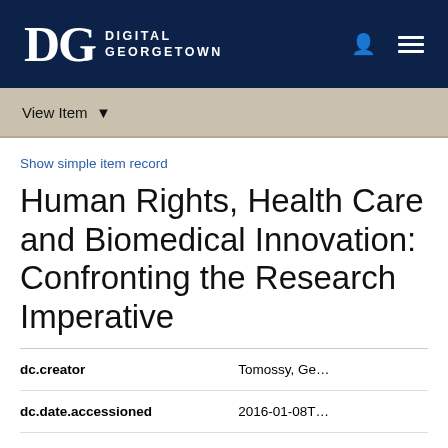DG DigitalGeorgetown
View Item
Show simple item record
Human Rights, Health Care and Biomedical Innovation: Confronting the Research Imperative
| Field | Value |
| --- | --- |
| dc.creator | Tomossy, Ge… |
| dc.date.accessioned | 2016-01-08T… |
| dc.date.available | 2016-01-08T… |
| dc.date.created | 2008 |